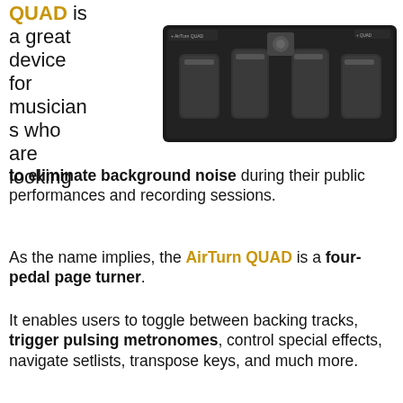QUAD is a great device for musicians who are looking to eliminate background noise during their public performances and recording sessions.
[Figure (photo): AirTurn QUAD four-pedal foot controller device, black, viewed from above, showing four pedals in a row on a rectangular base]
As the name implies, the AirTurn QUAD is a four-pedal page turner.
It enables users to toggle between backing tracks, trigger pulsing metronomes, control special effects, navigate setlists, transpose keys, and much more.